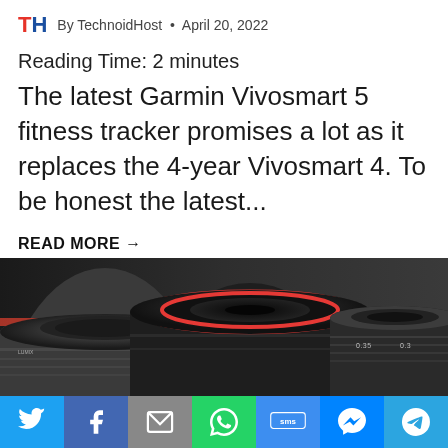TH By TechnoidHost · April 20, 2022
Reading Time: 2 minutes
The latest Garmin Vivosmart 5 fitness tracker promises a lot as it replaces the 4-year Vivosmart 4. To be honest the latest...
READ MORE →
[Figure (photo): Close-up of multiple camera lenses side by side on dark background, middle lens has red ring accent, rightmost lens shows markings 0.35 and 0.3]
Social share bar: Twitter, Facebook, Email, WhatsApp, SMS, Messenger, Telegram